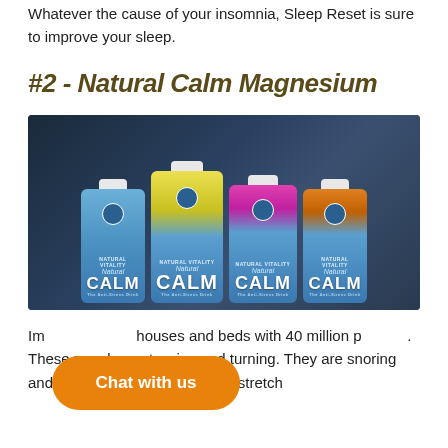at how quickly and deeply I entered my dreamland.
Whatever the cause of your insomnia, Sleep Reset is sure to improve your sleep.
#2 - Natural Calm Magnesium
[Figure (photo): Four bottles of Natural Calm Magnesium supplement by Natural Vitality, arranged in a row on a bed with blue/grey sheets. Bottles have different colored labels: blue/white, yellow/blue, pink/blue, and orange/blue.]
Im[age covered by chat bubble]houses and beds with 40 million p[eople]. These people are tossing and turning. They are snoring and thinking. They are trying to stretch th[emselves out and get comfortable]